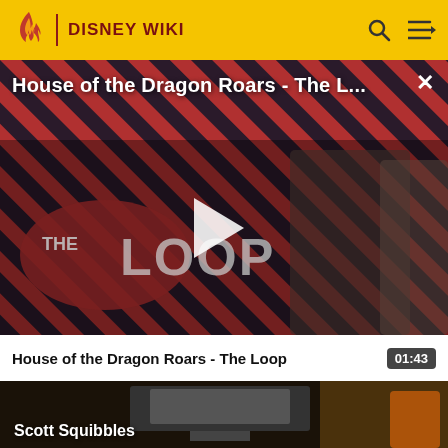DISNEY WIKI
[Figure (screenshot): Video player showing House of the Dragon Roars - The Loop with a play button overlay, featuring two characters on a striped red/dark background with The Loop logo visible.]
House of the Dragon Roars - The L... ×
House of the Dragon Roars - The Loop  01:43
[Figure (screenshot): Thumbnail of second video titled Scott Squibbles showing a dark scene.]
Scott Squibbles